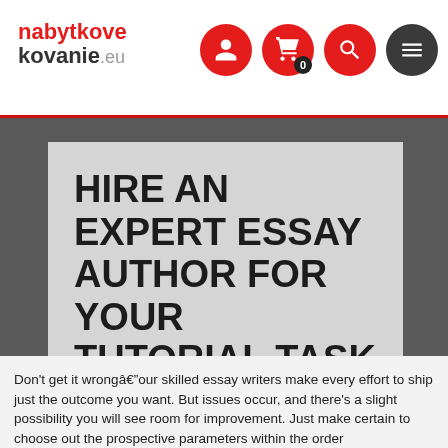nabytkove kovanie.eu
HIRE AN EXPERT ESSAY AUTHOR FOR YOUR TUTORIAL TASK
Don't get it wrongâour skilled essay writers make every effort to ship just the outcome you want. But issues occur, and there's a slight possibility you will see room for improvement. Just make certain to choose out the prospective parameters within the order